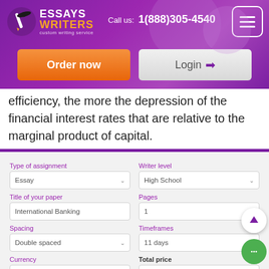[Figure (screenshot): Essays Writers custom writing service website header with purple gradient background, logo, phone number 1(888)305-4540, Order now button, and Login button]
efficiency, the more the depression of the financial interest rates that are relative to the marginal product of capital.
| Field | Value |
| --- | --- |
| Type of assignment | Essay |
| Writer level | High School |
| Title of your paper | International Banking |
| Pages | 1 |
| Spacing | Double spaced |
| Timeframes | 11 days |
| Currency | USD |
| Total price | 12.99 USD |